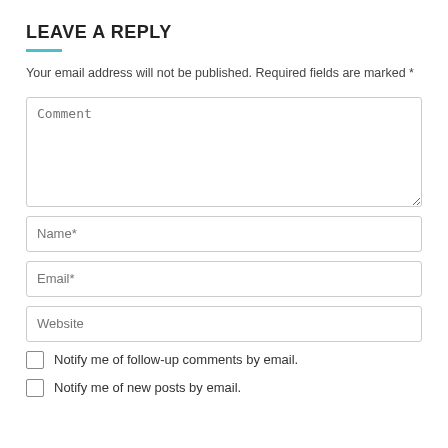LEAVE A REPLY
Your email address will not be published. Required fields are marked *
[Figure (screenshot): Comment text area input field with placeholder text 'Comment']
[Figure (screenshot): Name input field with placeholder text 'Name*']
[Figure (screenshot): Email input field with placeholder text 'Email*']
[Figure (screenshot): Website input field with placeholder text 'Website']
Notify me of follow-up comments by email.
Notify me of new posts by email.